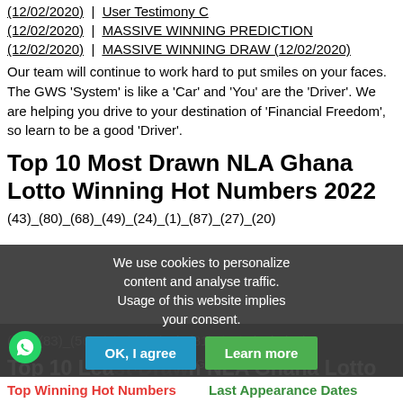(12/02/2020) | User Testimony C (12/02/2020) | MASSIVE WINNING PREDICTION (12/02/2020) | MASSIVE WINNING DRAW (12/02/2020)
Our team will continue to work hard to put smiles on your faces. The GWS 'System' is like a 'Car' and 'You' are the 'Driver'. We are helping you drive to your destination of 'Financial Freedom', so learn to be a good 'Driver'.
Top 10 Most Drawn NLA Ghana Lotto Winning Hot Numbers 2022
(43)_(80)_(68)_(49)_(24)_(1)_(87)_(27)_(20)
Top 10 Least Drawn NLA Ghana Lotto Winning Hot Numbers 2022
(47)_(83)_(56)_(9)_(43)_(50)_(81)_(22)_(10)_(33)
Supported by: [ GWS-Online-GH ]
Top Winning Hot Numbers Last Appearance Dates